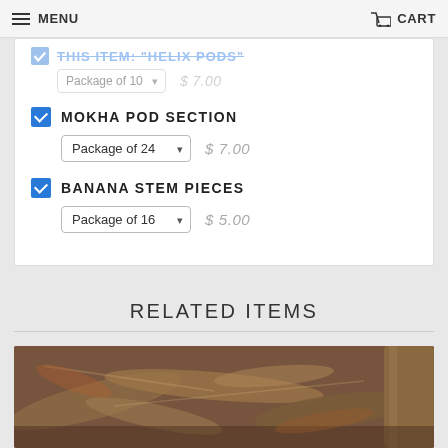MENU    CART
THIS ITEM: "HELIX PODS" — Package of 10 — $7.00 (strikethrough)
MOKHA POD SECTION
Package of 24 — $7.00
BANANA STEM PIECES
Package of 16 — $5.00
RELATED ITEMS
[Figure (photo): Photo of dried natural products (possibly stems or roots) arranged on a wooden surface]